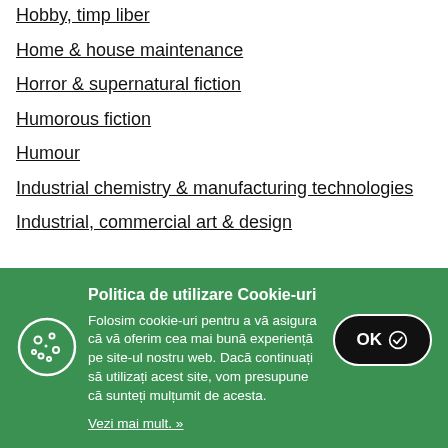Hobby, timp liber
Home & house maintenance
Horror & supernatural fiction
Humorous fiction
Humour
Industrial chemistry & manufacturing technologies
Industrial, commercial art & design
Politica de utilizare Cookie-uri
Folosim cookie-uri pentru a vă asigura că vă oferim cea mai bună experiență pe site-ul nostru web. Dacă continuați să utilizați acest site, vom presupune că sunteți mulțumit de acesta.
Vezi mai mult. »